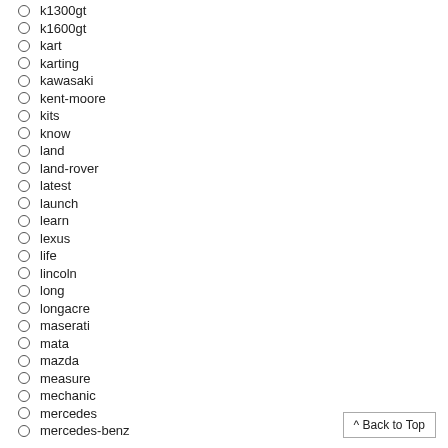k1300gt
k1600gt
kart
karting
kawasaki
kent-moore
kits
know
land
land-rover
latest
launch
learn
lexus
life
lincoln
long
longacre
maserati
mata
mazda
measure
mechanic
mercedes
mercedes-benz
^ Back to Top